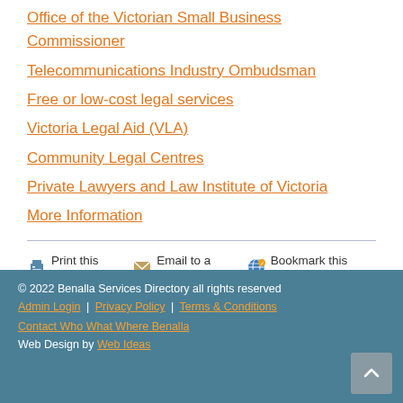Office of the Victorian Small Business Commissioner
Telecommunications Industry Ombudsman
Free or low-cost legal services
Victoria Legal Aid (VLA)
Community Legal Centres
Private Lawyers and Law Institute of Victoria
More Information
Print this page | Email to a friend | Bookmark this page | Share on Facebook | Report incorrect information
© 2022 Benalla Services Directory all rights reserved
Admin Login | Privacy Policy | Terms & Conditions
Contact Who What Where Benalla
Web Design by Web Ideas